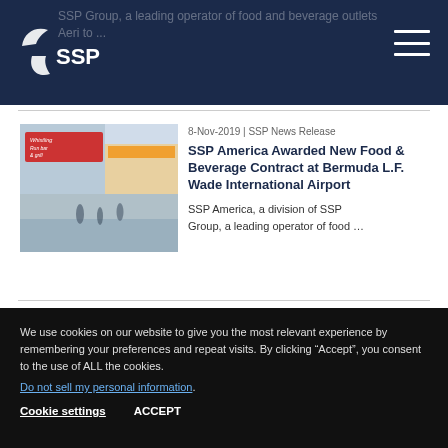SSP Group, a leading operator of food and beverage outlets
[Figure (logo): SSP Group logo — two curved arrows and 'SSP' text in white on dark navy background]
8-Nov-2019 | SSP News Release
SSP America Awarded New Food & Beverage Contract at Bermuda L.F. Wade International Airport
[Figure (photo): Interior photo of a food court/airport dining area showing a restaurant called 'Whistling Run Bar & Grill' with signage and people walking]
SSP America, a division of SSP Group, a leading operator of food …
We use cookies on our website to give you the most relevant experience by remembering your preferences and repeat visits. By clicking “Accept”, you consent to the use of ALL the cookies.
Do not sell my personal information.
Cookie settings   ACCEPT